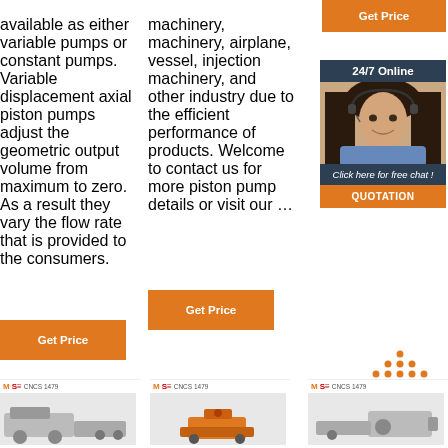available as either variable pumps or constant pumps. Variable displacement axial piston pumps adjust the geometric output volume from maximum to zero. As a result they vary the flow rate that is provided to the consumers.
machinery, machinery, airplane, vessel, injection machinery, and other industry due to the efficient performance of products. Welcome to contact us for more piston pump details or visit our …
[Figure (photo): Customer service representative with headset, smiling, in 24/7 online chat support widget]
Get Price
24/7 Online
Click here for free chat !
QUOTATION
Get Price
Get Price
[Figure (logo): TOP button with orange arrow dots and TOP text]
[Figure (logo): MS CNCS 1479 logo with machinery image]
[Figure (logo): MS CNCS 1479 logo with machinery image]
[Figure (logo): MS CNCS 1479 logo with machinery image]